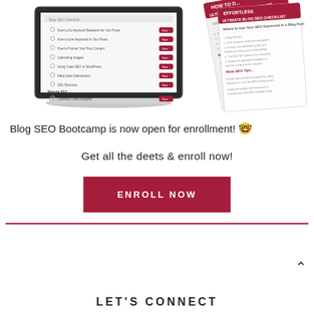[Figure (illustration): Illustration of a laptop showing a blog SEO checklist interface, alongside physical checklist sheets fanned out with red headers reading 'ULTIMATE BLOG SEO CHECKLIST' and yellow sticky note-like triangles]
Blog SEO Bootcamp is now open for enrollment! 🤓
Get all the deets & enroll now!
ENROLL NOW
LET'S CONNECT